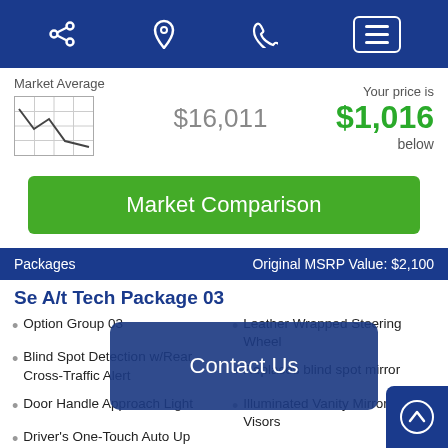Navigation bar with share, location, phone, and menu icons
Market Average
[Figure (other): Small chart icon showing a market average trend line on a grid]
$16,011
Your price is $1,016 below
Market Comparison
Packages   Original MSRP Value: $2,100
Se A/t Tech Package 03
Option Group 03
Leather Wrapped Steering Wheel
Blind Spot Detection w/Rear Cross-Traffic Alert
Replaces blind spot mirror
Door Handle Approach Light
Illuminated Vanity Mirrors w/Sur[...]ons
Driver's One-Touch Auto Up Window
Contact Us